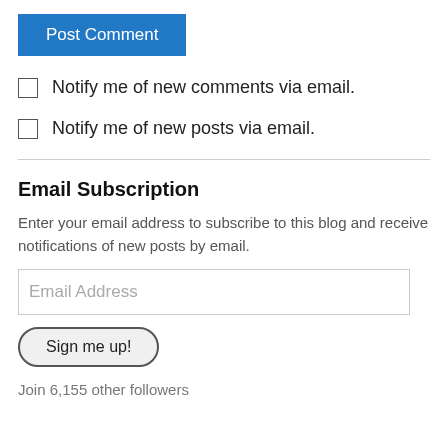Post Comment
Notify me of new comments via email.
Notify me of new posts via email.
Email Subscription
Enter your email address to subscribe to this blog and receive notifications of new posts by email.
Email Address
Sign me up!
Join 6,155 other followers